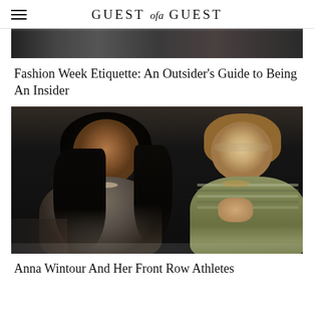GUEST of a GUEST
[Figure (photo): Partial top image strip showing people at a fashion event]
Fashion Week Etiquette: An Outsider's Guide to Being An Insider
[Figure (photo): Two women seated in the front row at a fashion show - a young Black woman in a gray dress and an older blonde woman in a metallic green outfit]
Anna Wintour And Her Front Row Athletes